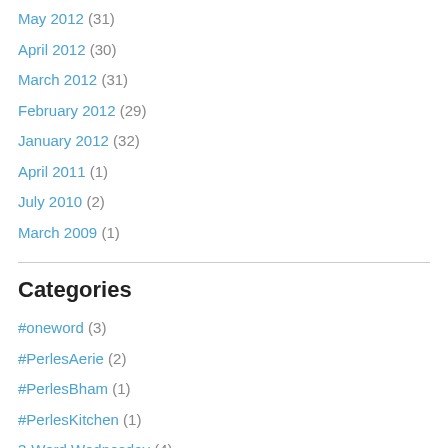May 2012 (31)
April 2012 (30)
March 2012 (31)
February 2012 (29)
January 2012 (32)
April 2011 (1)
July 2010 (2)
March 2009 (1)
Categories
#oneword (3)
#PerlesAerie (2)
#PerlesBham (1)
#PerlesKitchen (1)
3-Word Wednesday (4)
911 remembrance (1)
Air Force Brat (5)
Alabama DMV (1)